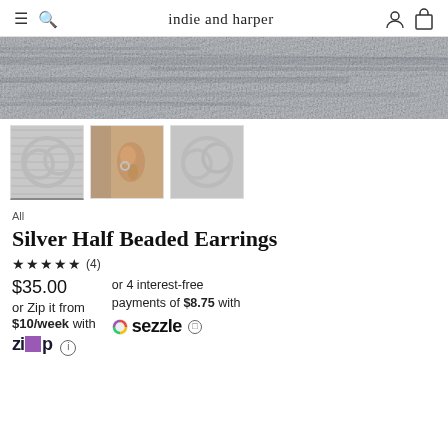indie and harper
[Figure (photo): Textured grey stone/marble surface background image]
[Figure (photo): Three product thumbnail images: silver hoop earrings on stone, earring worn on ear, and silver hoop earrings on stone]
All
Silver Half Beaded Earrings
★★★★★ (4)
$35.00
or Zip it from $10/week with ZIP ⓘ
or 4 interest-free payments of $8.75 with sezzle ⓘ